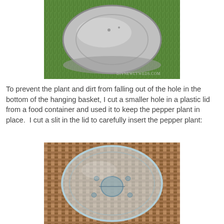[Figure (photo): A stainless steel pot or hanging basket seen from above, sitting on green grass, with watermark DIYNEWLYWEDS.COM in the bottom right corner]
To prevent the plant and dirt from falling out of the hole in the bottom of the hanging basket, I cut a smaller hole in a plastic lid from a food container and used it to keep the pepper plant in place.  I cut a slit in the lid to carefully insert the pepper plant:
[Figure (photo): A clear plastic circular lid with a hole cut in the center and several smaller holes around it, placed on a wicker/rattan surface]